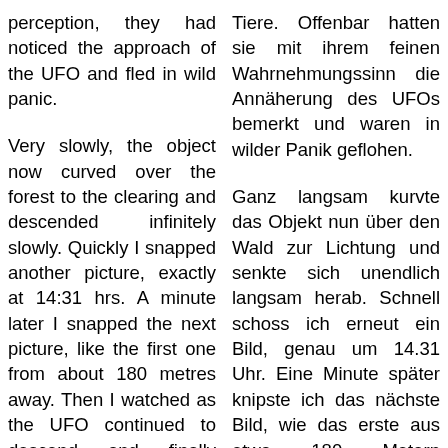perception, they had noticed the approach of the UFO and fled in wild panic.
Tiere. Offenbar hatten sie mit ihrem feinen Wahrnehmungssinn die Annäherung des UFOs bemerkt und waren in wilder Panik geflohen.
Very slowly, the object now curved over the forest to the clearing and descended infinitely slowly. Quickly I snapped another picture, exactly at 14:31 hrs. A minute later I snapped the next picture, like the first one from about 180 metres away. Then I watched as the UFO continued to descend and finally touched down gently on the meadow bottom of the
Ganz langsam kurvte das Objekt nun über den Wald zur Lichtung und senkte sich unendlich langsam herab. Schnell schoss ich erneut ein Bild, genau um 14.31 Uhr. Eine Minute später knipste ich das nächste Bild, wie das erste aus etwa 180 Metern Entfernung. Danach beobachtete ich, wie sich das UFO weiter senkte und letztendlich sanft auf den Wiesengrund der